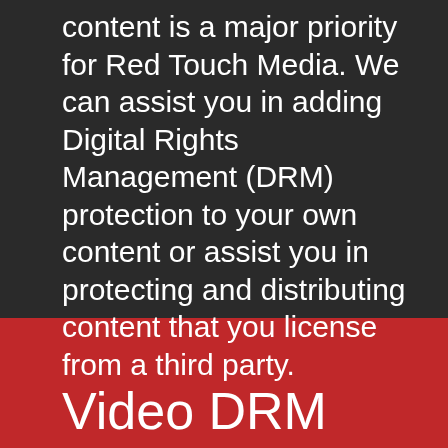content is a major priority for Red Touch Media. We can assist you in adding Digital Rights Management (DRM) protection to your own content or assist you in protecting and distributing content that you license from a third party.
Video DRM